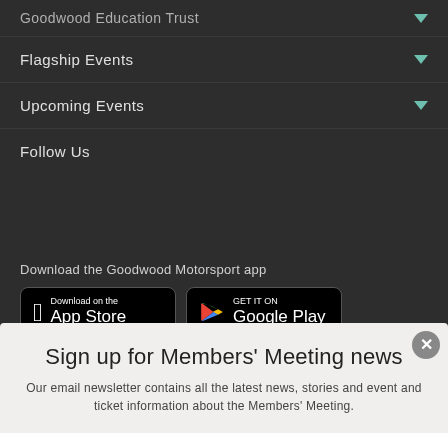Goodwood Education Trust
Flagship Events
Upcoming Events
Follow Us
Download the Goodwood Motorsport app
[Figure (screenshot): App Store and Google Play download buttons for Goodwood Motorsport app]
[Figure (logo): Goodwood emblem/crest logo in grey on dark background]
Sign up for Members' Meeting news
Our email newsletter contains all the latest news, stories and event and ticket information about the Members' Meeting.